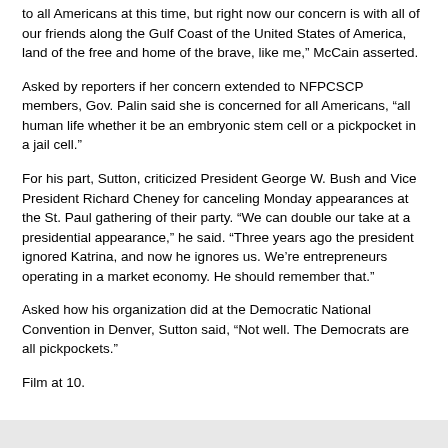to all Americans at this time, but right now our concern is with all of our friends along the Gulf Coast of the United States of America, land of the free and home of the brave, like me," McCain asserted.
Asked by reporters if her concern extended to NFPCSCP members, Gov. Palin said she is concerned for all Americans, “all human life whether it be an embryonic stem cell or a pickpocket in a jail cell.”
For his part, Sutton, criticized President George W. Bush and Vice President Richard Cheney for canceling Monday appearances at the St. Paul gathering of their party. “We can double our take at a presidential appearance,” he said. “Three years ago the president ignored Katrina, and now he ignores us. We’re entrepreneurs operating in a market economy. He should remember that.”
Asked how his organization did at the Democratic National Convention in Denver, Sutton said, “Not well. The Democrats are all pickpockets.”
Film at 10.